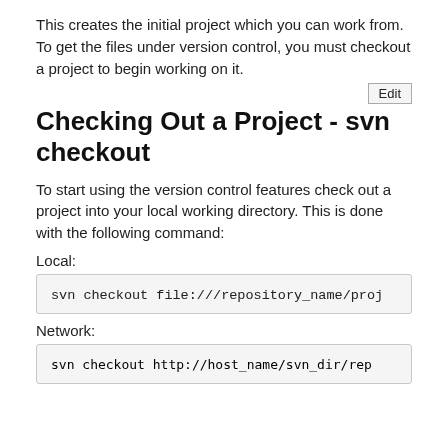This creates the initial project which you can work from. To get the files under version control, you must checkout a project to begin working on it.
Edit
Checking Out a Project - svn checkout
To start using the version control features check out a project into your local working directory. This is done with the following command:
Local:
svn checkout file:///repository_name/proj...
Network:
svn checkout http://host_name/svn_dir/rep...